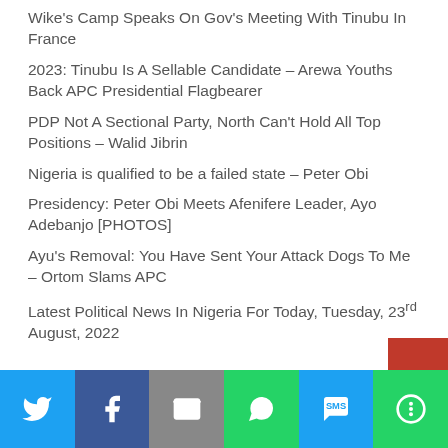Wike's Camp Speaks On Gov's Meeting With Tinubu In France
2023: Tinubu Is A Sellable Candidate – Arewa Youths Back APC Presidential Flagbearer
PDP Not A Sectional Party, North Can't Hold All Top Positions – Walid Jibrin
Nigeria is qualified to be a failed state – Peter Obi
Presidency: Peter Obi Meets Afenifere Leader, Ayo Adebanjo [PHOTOS]
Ayu's Removal: You Have Sent Your Attack Dogs To Me – Ortom Slams APC
Latest Political News In Nigeria For Today, Tuesday, 23rd August, 2022